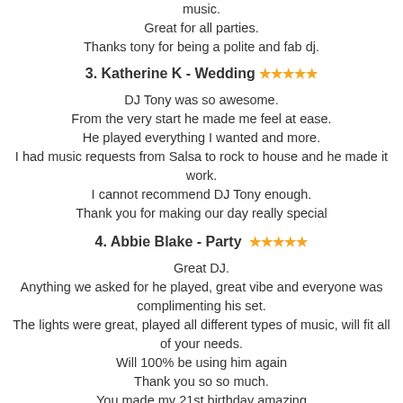music.
Great for all parties.
Thanks tony for being a polite and fab dj.
3. Katherine K - Wedding ★★★★★
DJ Tony was so awesome.
From the very start he made me feel at ease.
He played everything I wanted and more.
I had music requests from Salsa to rock to house and he made it work.
I cannot recommend DJ Tony enough.
Thank you for making our day really special
4. Abbie Blake - Party ★★★★★
Great DJ.
Anything we asked for he played, great vibe and everyone was complimenting his set.
The lights were great, played all different types of music, will fit all of your needs.
Will 100% be using him again
Thank you so so much.
You made my 21st birthday amazing
5. Latoya H - Party ★★★★★